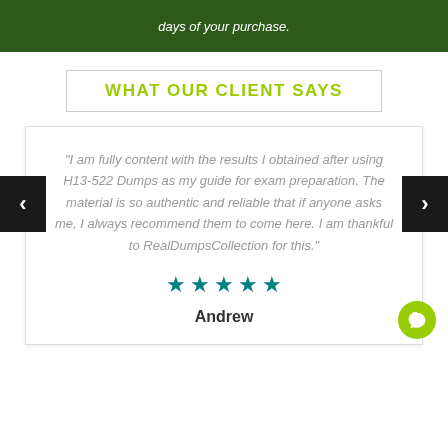days of your purchase.
WHAT OUR CLIENT SAYS
“I am fully content with the results I obtained after using H13-522 Dumps as my guide for exam preparation. The material is so authentic and reliable that if anyone asks me, I always recommend them to come here. I am thankful to RealDumpsCollection for this.”
Andrew